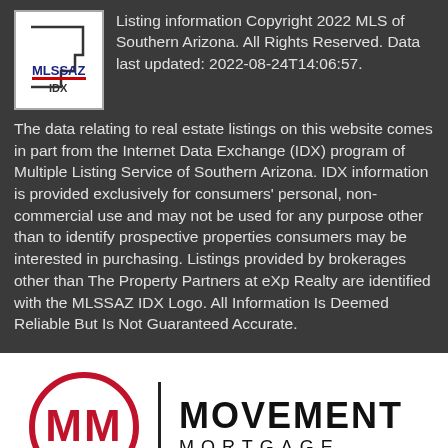[Figure (logo): MLSSAZ IDX logo - Arizona state outline with red and blue text]
Listing information Copyright 2022 MLS of Southern Arizona. All Rights Reserved. Data last updated: 2022-08-24T14:06:57.
The data relating to real estate listings on this website comes in part from the Internet Data Exchange (IDX) program of Multiple Listing Service of Southern Arizona. IDX information is provided exclusively for consumers' personal, non-commercial use and may not be used for any purpose other than to identify prospective properties consumers may be interested in purchasing. Listings provided by brokerages other than The Property Partners at eXp Realty are identified with the MLSSAZ IDX Logo. All Information Is Deemed Reliable But Is Not Guaranteed Accurate.
[Figure (logo): Movement Mortgage logo - red circle with MM letters and MOVEMENT MORTGAGE text]
Take a Tour
Ask A Question